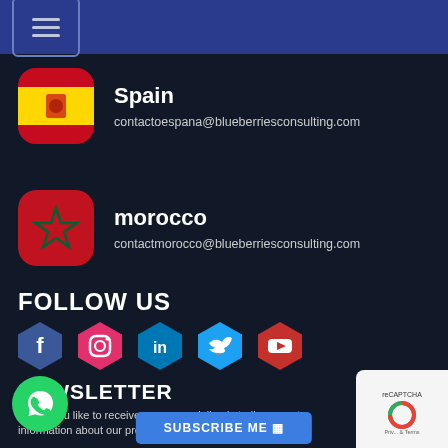Navigation menu header bar
Spain
contactoespana@blueberriesconsulting.com
morocco
contactmorocco@blueberriesconsulting.com
FOLLOW US
[Figure (logo): Social media icons: Facebook (blue hexagon), Instagram (pink hexagon), LinkedIn (teal hexagon), Twitter (light blue hexagon), YouTube (red hexagon)]
NEWSLETTER
Would you like to receive news, specialized studies, events information about our promotions and competitions?
SUBSCRIBE ME